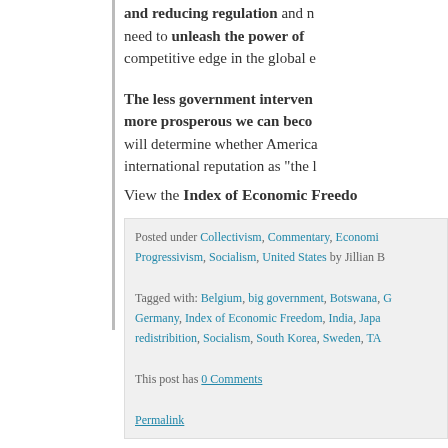and reducing regulation and need to unleash the power of competitive edge in the global e
The less government interven more prosperous we can beco will determine whether America international reputation as "the l
View the Index of Economic Freedo
Posted under Collectivism, Commentary, Economi Progressivism, Socialism, United States by Jillian Tagged with Belgium, big government, Botswana, Germany, Index of Economic Freedom, India, Japa redistribition, Socialism, South Korea, Sweden, TA This post has 0 Comments
Permalink
Britain's suicide a drain
Muslims of the Middle East, Far East
Great good news – if you haven't alr